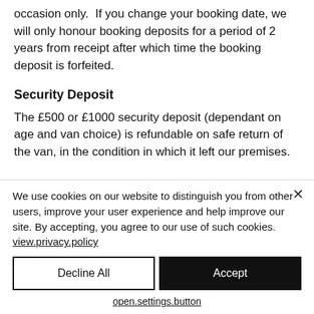occasion only.  If you change your booking date, we will only honour booking deposits for a period of 2 years from receipt after which time the booking deposit is forfeited.
Security Deposit
The £500 or £1000 security deposit (dependant on age and van choice) is refundable on safe return of the van, in the condition in which it left our premises.
We use cookies on our website to distinguish you from other users, improve your user experience and help improve our site. By accepting, you agree to our use of such cookies. view.privacy.policy
Decline All
Accept
open.settings.button